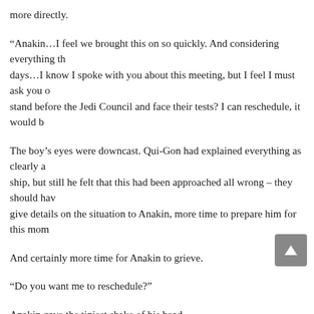more directly.
“Anakin…I feel we brought this on so quickly. And considering everything th- days…I know I spoke with you about this meeting, but I feel I must ask you o- stand before the Jedi Council and face their tests? I can reschedule, it would b-
The boy’s eyes were downcast. Qui-Gon had explained everything as clearly a- ship, but still he felt that this had been approached all wrong – they should hav- give details on the situation to Anakin, more time to prepare him for this mom-
And certainly more time for Anakin to grieve.
“Do you want me to reschedule?”
Anakin gave the tiniest shake of his head.
“Will you be able to respond to the council’s questions?” Qui-Gon asked.
Anakin took in a deep breath, squared off his shoulders, and held his head hig-